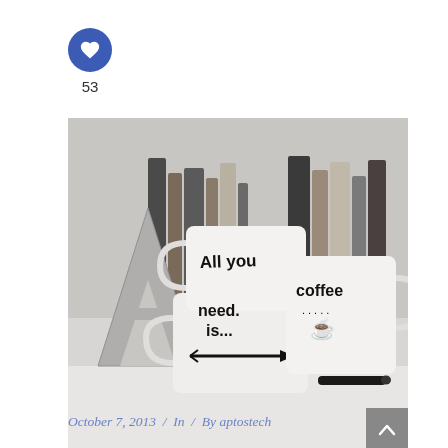[Figure (other): Blue circle with white heart icon and like count 53 below]
[Figure (photo): Two white mugs with handwritten text: left mug reads 'All you need is...' with arrow, right mug reads 'coffee.....' with steam cup icon. Books in background.]
October 7, 2013 / In / By aptostech